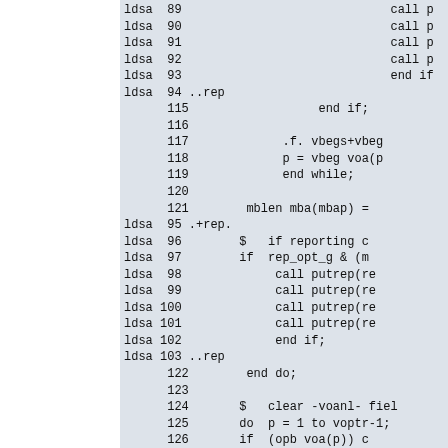Code listing showing assembly/source lines with ldsa labels and line numbers 89-131, including constructs like call p, end if, ..rep, end while, mblen mba(mbap), .+rep., if reporting, rep_opt_g, call putrep, end do, clear -voanl-, do p = 1 to voptr-1, voanl voa(p) = 0, macdrop(vbegs), end subr sortvars